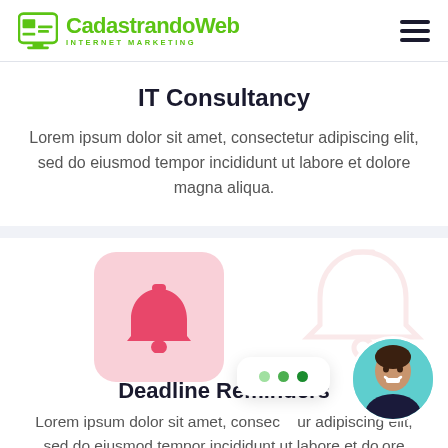CadastrandoWeb INTERNET MARKETING
IT Consultancy
Lorem ipsum dolor sit amet, consectetur adipiscing elit, sed do eiusmod tempor incididunt ut labore et dolore magna aliqua.
[Figure (illustration): Pink bell notification icon on a pink rounded-square background, with a larger ghost/watermark bell icon in the background]
Deadline Reminders
Lorem ipsum dolor sit amet, consectetur adipiscing elit, sed do eiusmod tempor incididunt ut labore et dolore magna aliqua.
[Figure (illustration): Chat bubble with three green dots overlay, and a circular avatar photo of a smiling woman]